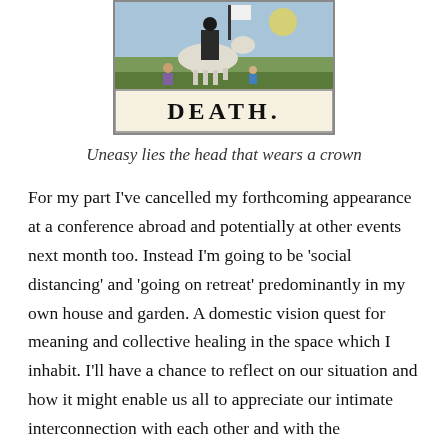[Figure (illustration): Tarot card for Death showing figures in a medieval scene with a skeleton knight on horseback, with the word DEATH printed below in bold letters]
Uneasy lies the head that wears a crown
For my part I've cancelled my forthcoming appearance at a conference abroad and potentially at other events next month too. Instead I'm going to be 'social distancing' and 'going on retreat' predominantly in my own house and garden. A domestic vision quest for meaning and collective healing in the space which I inhabit. I'll have a chance to reflect on our situation and how it might enable us all to appreciate our intimate interconnection with each other and with the biosphere.  Ironically if we all go on retreat for the next 2 to 4 weeks, by sticking apart we can